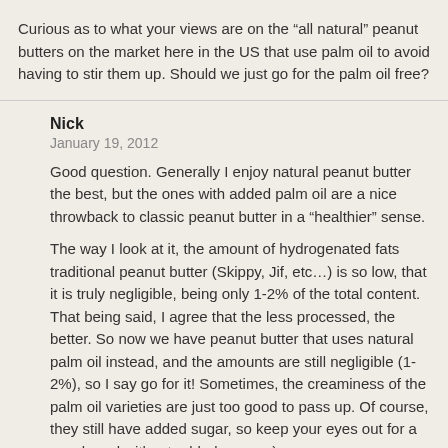Curious as to what your views are on the “all natural” peanut butters on the market here in the US that use palm oil to avoid having to stir them up. Should we just go for the palm oil free?
Nick
January 19, 2012
Good question. Generally I enjoy natural peanut butter the best, but the ones with added palm oil are a nice throwback to classic peanut butter in a “healthier” sense.
The way I look at it, the amount of hydrogenated fats traditional peanut butter (Skippy, Jif, etc…) is so low, that it is truly negligible, being only 1-2% of the total content. That being said, I agree that the less processed, the better. So now we have peanut butter that uses natural palm oil instead, and the amounts are still negligible (1-2%), so I say go for it! Sometimes, the creaminess of the palm oil varieties are just too good to pass up. Of course, they still have added sugar, so keep your eyes out for a new brand without added sugar =)
Debbie